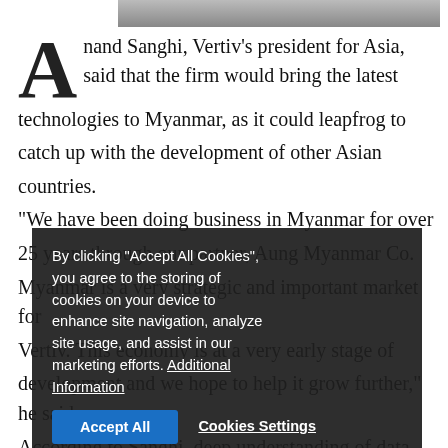[Figure (photo): Partial photo visible at top of page, showing a person]
Anand Sanghi, Vertiv's president for Asia, said that the firm would bring the latest technologies to Myanmar, as it could leapfrog to catch up with the development of other Asian countries.

"We have been doing business in Myanmar for over 25 years through our partner, Aung Myanmar Co. Myanmar is a very strategic and important market for Vertiv. This economy is at a very early stage of development and we hope to help it grow further," he said.

According to Sanghi, deep understanding of data centres, communication networks, and industrial and commercial facilities coupled with its innovative products, solutions and service network sets the firm
By clicking "Accept All Cookies", you agree to the storing of cookies on your device to enhance site navigation, analyze site usage, and assist in our marketing efforts. Additional Information